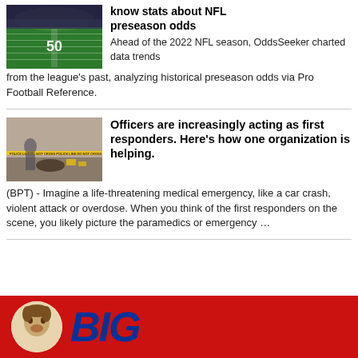[Figure (photo): NFL football field aerial view showing the 50-yard line]
know stats about NFL preseason odds
Ahead of the 2022 NFL season, OddsSeeker charted data trends from the league's past, analyzing historical preseason odds via Pro Football Reference.
[Figure (photo): Crime scene with police tape and officers]
Officers are increasingly acting as first responders. Here's how one organization is helping.
(BPT) - Imagine a life-threatening medical emergency, like a car crash, violent attack or overdose. When you think of the first responders on the scene, you likely picture the paramedics or emergency …
[Figure (logo): Big (partial logo) on red background with circular mascot image]